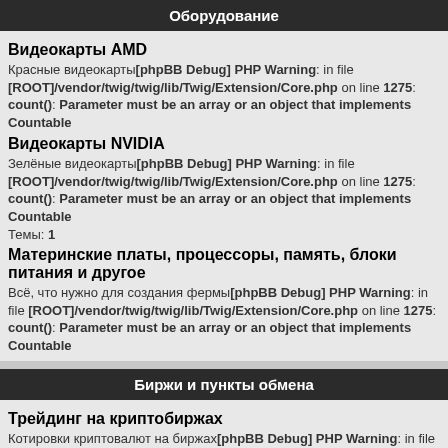Оборудование
Видеокарты AMD
Красные видеокарты[phpBB Debug] PHP Warning: in file [ROOT]/vendor/twig/twig/lib/Twig/Extension/Core.php on line 1275: count(): Parameter must be an array or an object that implements Countable
Видеокарты NVIDIA
Зелёные видеокарты[phpBB Debug] PHP Warning: in file [ROOT]/vendor/twig/twig/lib/Twig/Extension/Core.php on line 1275: count(): Parameter must be an array or an object that implements Countable
Темы: 1
Материнские платы, процессоры, память, блоки питания и другое
Всё, что нужно для создания фермы[phpBB Debug] PHP Warning: in file [ROOT]/vendor/twig/twig/lib/Twig/Extension/Core.php on line 1275: count(): Parameter must be an array or an object that implements Countable
Биржи и пункты обмена
Трейдинг на криптобиржах
Котировки криптовалют на биржах[phpBB Debug] PHP Warning: in file [ROOT]/vendor/twig/twig/lib/Twig/Extension/Core.php on line